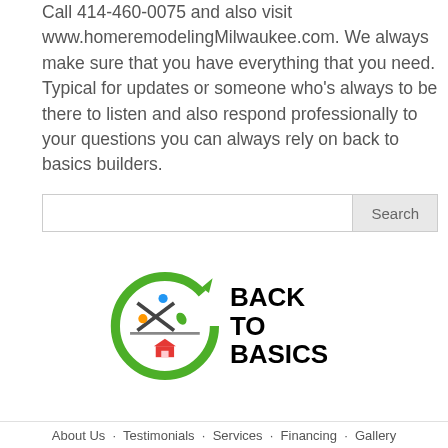Call 414-460-0075 and also visit www.homeremodelingMilwaukee.com. We always make sure that you have everything that you need. Typical for updates or someone who's always to be there to listen and also respond professionally to your questions you can always rely on back to basics builders.
[Figure (logo): Back to Basics Builders logo with circular green arrow surrounding an X and house icon, with bold text BACK TO BASICS]
About Us   Testimonials   Services   Financing   Gallery